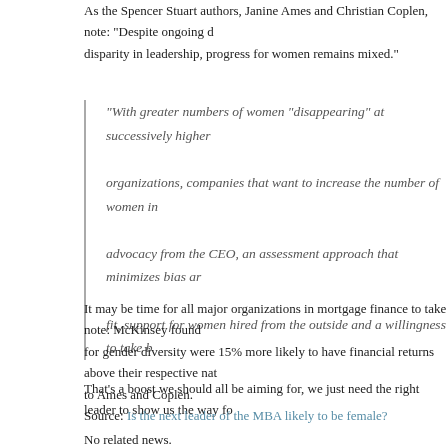As the Spencer Stuart authors, Janine Ames and Christian Coplen, note: "Despite ongoing disparity in leadership, progress for women remains mixed."
"With greater numbers of women "disappearing" at successively higher organizations, companies that want to increase the number of women in advocacy from the CEO, an assessment approach that minimizes bias ar fit, support for women hired from the outside and a willingness to take b
It may be time for all major organizations in mortgage finance to take note: McKinsey found for gender diversity were 15% more likely to have financial returns above their respective nat to Ames and Coplen.
That’s a boost we should all be aiming for, we just need the right leader to show us the way fo
Source: Is the next leader of the MBA likely to be female?
No related news.